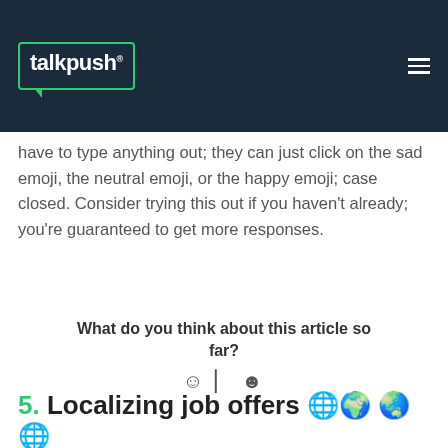talkpush
have to type anything out; they can just click on the sad emoji, the neutral emoji, or the happy emoji; case closed. Consider trying this out if you haven't already; you're guaranteed to get more responses.
What do you think about this article so far?
☺ | ☻
5. Localizing job offers 🌐 🌍 🌏